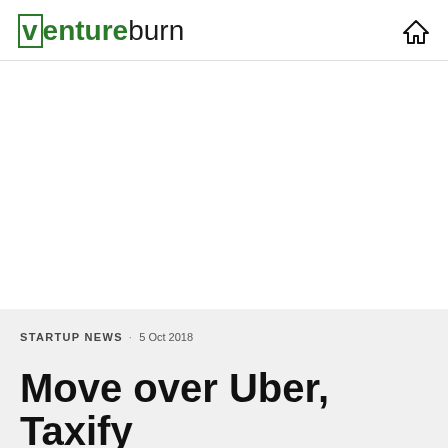ventureburn
STARTUP NEWS · 5 Oct 2018
Move over Uber, Taxify